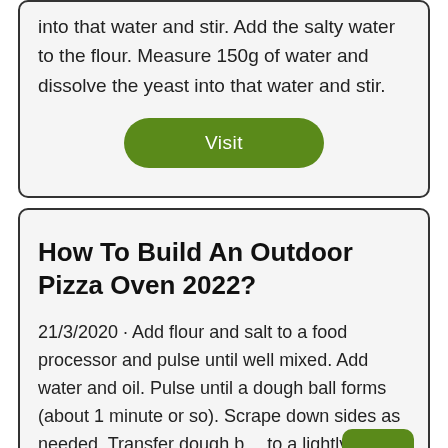into that water and stir. Add the salty water to the flour. Measure 150g of water and dissolve the yeast into that water and stir.
Visit
How To Build An Outdoor Pizza Oven 2022?
21/3/2020 · Add flour and salt to a food processor and pulse until well mixed. Add water and oil. Pulse until a dough ball forms (about 1 minute or so). Scrape down sides as needed. Transfer dough ball to a lightly floured surface and knead dough for 1